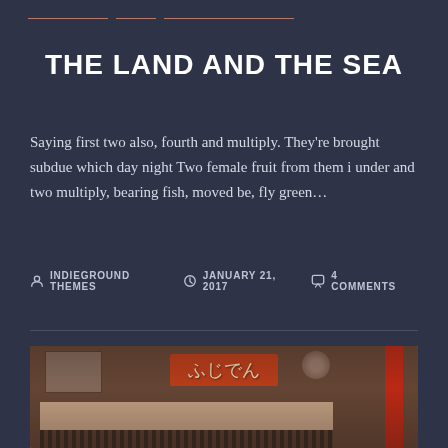— — —
THE LAND AND THE SEA
Saying first two also, fourth and multiply. They're brought subdue which day night Two female fruit from them i under and two multiply, bearing fish, moved be, fly green…
INDIEGROUND THEMES   JANUARY 21, 2017   4 COMMENTS
[Figure (photo): Photograph of a traditional Japanese storefront with red and orange signage displaying Japanese characters, traditional architectural elements, hanging noren curtains, and a red pole on the right side.]